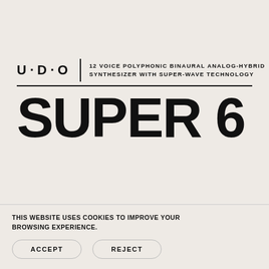U·D·O
12 VOICE POLYPHONIC BINAURAL ANALOG-HYBRID SYNTHESIZER WITH SUPER-WAVE TECHNOLOGY
SUPER 6
THIS WEBSITE USES COOKIES TO IMPROVE YOUR BROWSING EXPERIENCE.
ACCEPT
REJECT